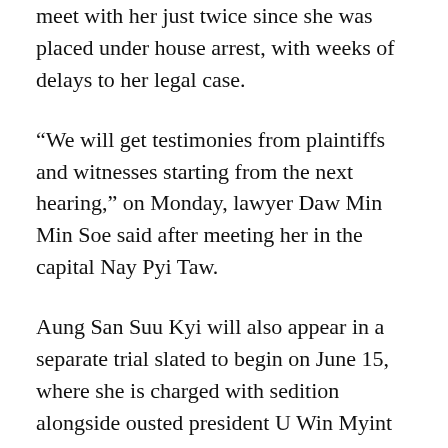meet with her just twice since she was placed under house arrest, with weeks of delays to her legal case.
“We will get testimonies from plaintiffs and witnesses starting from the next hearing,” on Monday, lawyer Daw Min Min Soe said after meeting her in the capital Nay Pyi Taw.
Aung San Suu Kyi will also appear in a separate trial slated to begin on June 15, where she is charged with sedition alongside ousted president U Win Myint and Nay Pyi Taw mayor Dr Myo Aung, the lawyer said.
There was a heavy police presence around the Nay Pyi Taw council compound, close to where the court is located, with roadblocks along streets